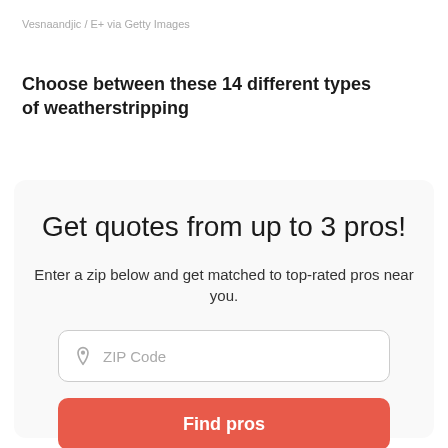Vesnaandjic / E+ via Getty Images
Choose between these 14 different types of weatherstripping
Get quotes from up to 3 pros!
Enter a zip below and get matched to top-rated pros near you.
[Figure (other): ZIP Code input field with location pin icon]
[Figure (other): Find pros button in red/coral color]